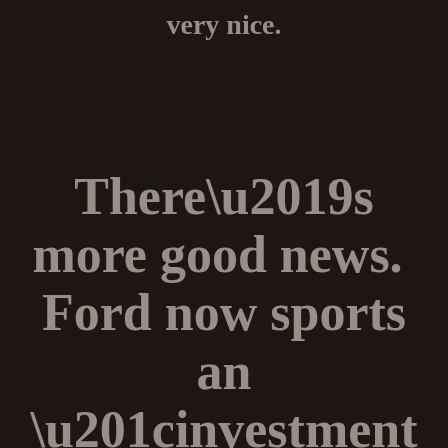very nice.
There’s more good news.  Ford now sports an “investment Grade” credit